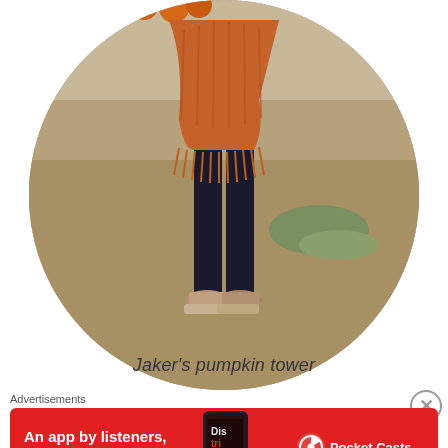[Figure (photo): Circular cropped photo of a person wearing dark pants, an orange/rust knit wrap shawl with fringe, and tan platform sandals, standing in a pumpkin patch field with orange pumpkins visible in the background.]
Jaker's pumpkin tower
Advertisements
[Figure (illustration): Red advertisement banner for Pocket Casts app: 'An app by listeners, for listeners.' with a phone image showing the app and the Pocket Casts logo on the right.]